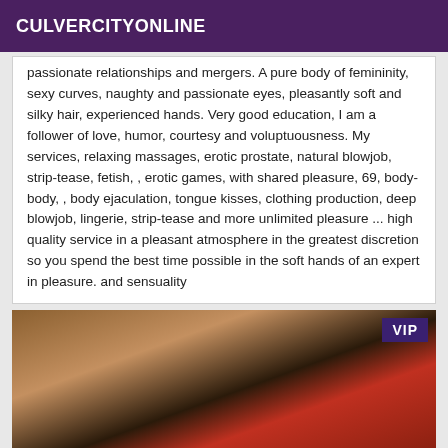CULVERCITYONLINE
passionate relationships and mergers. A pure body of femininity, sexy curves, naughty and passionate eyes, pleasantly soft and silky hair, experienced hands. Very good education, I am a follower of love, humor, courtesy and voluptuousness. My services, relaxing massages, erotic prostate, natural blowjob, strip-tease, fetish, , erotic games, with shared pleasure, 69, body-body, , body ejaculation, tongue kisses, clothing production, deep blowjob, lingerie, strip-tease and more unlimited pleasure ... high quality service in a pleasant atmosphere in the greatest discretion so you spend the best time possible in the soft hands of an expert in pleasure. and sensuality
[Figure (photo): Photo showing a person wearing a black skirt and red leather jacket, partially visible, seated near wooden furniture. A VIP badge overlay is in the top right corner.]